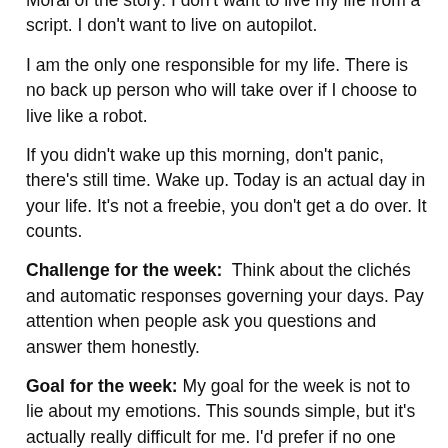Moral of the story: I don't want to live my life from a script. I don't want to live on autopilot.
I am the only one responsible for my life. There is no back up person who will take over if I choose to live like a robot.
If you didn't wake up this morning, don't panic, there's still time. Wake up. Today is an actual day in your life. It's not a freebie, you don't get a do over. It counts.
Challenge for the week:  Think about the clichés and automatic responses governing your days. Pay attention when people ask you questions and answer them honestly.
Goal for the week: My goal for the week is not to lie about my emotions. This sounds simple, but it's actually really difficult for me. I'd prefer if no one knew I had